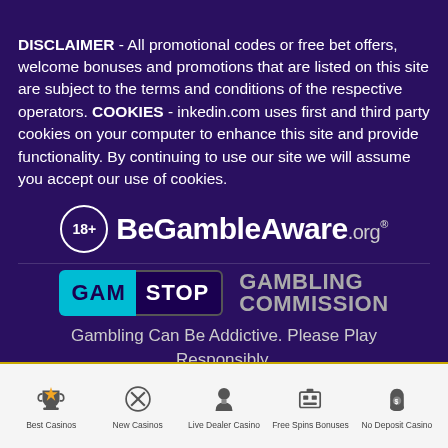DISCLAIMER - All promotional codes or free bet offers, welcome bonuses and promotions that are listed on this site are subject to the terms and conditions of the respective operators. COOKIES - inkedin.com uses first and third party cookies on your computer to enhance this site and provide functionality. By continuing to use our site we will assume you accept our use of cookies.
[Figure (logo): 18+ BeGambleAware.org logo with circle 18+ icon and registered trademark]
[Figure (logo): GamStop logo in cyan/dark and Gambling Commission logo in grey]
Gambling Can Be Addictive. Please Play Responsibly.
[Figure (infographic): Footer navigation bar with 5 icons: Best Casinos, New Casinos, Live Dealer Casino, Free Spins Bonuses, No Deposit Casino]